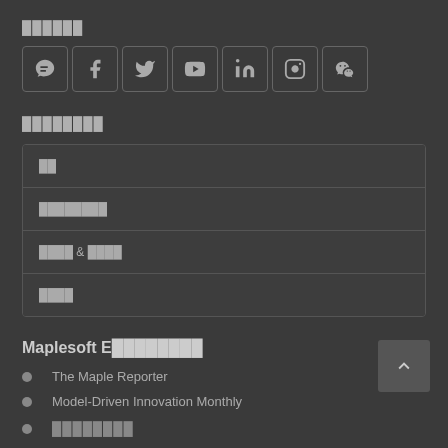██████
[Figure (infographic): Row of 7 social media icon buttons: chat/comment, Facebook, Twitter, YouTube, LinkedIn, Instagram, WeChat]
████████
| ██ |
| ████████ |
| ████ & ████ |
| ████ |
Maplesoft E████████
The Maple Reporter
Model-Driven Innovation Monthly
████████